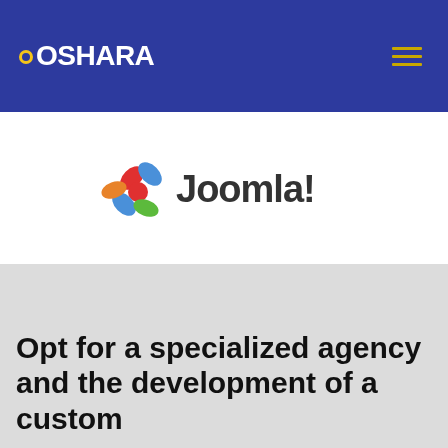OSHARA
[Figure (logo): Joomla! logo with colorful flower icon and Joomla! text in blue and gray]
Opt for a specialized agency and the development of a custom